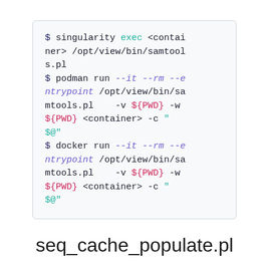$ singularity exec <container> /opt/view/bin/samtools.pl
$ podman run --it --rm --entrypoint /opt/view/bin/samtools.pl    -v ${PWD} -w ${PWD} <container> -c "$@"
$ docker run --it --rm --entrypoint /opt/view/bin/samtools.pl    -v ${PWD} -w ${PWD} <container> -c "$@"
seq_cache_populate.pl
$ singularity exec <container> /opt/view/bin/seq_cac